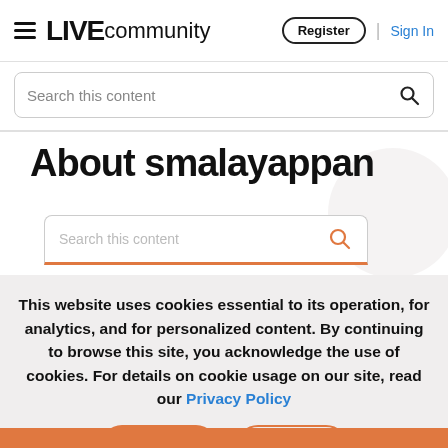LIVE community  Register  Sign In
Search this content
About smalayappan
Search this content
This website uses cookies essential to its operation, for analytics, and for personalized content. By continuing to browse this site, you acknowledge the use of cookies. For details on cookie usage on our site, read our Privacy Policy
Accept  Reject